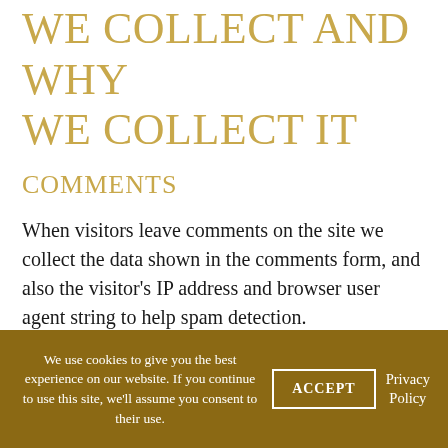WHAT PERSONAL DATA WE COLLECT AND WHY WE COLLECT IT
COMMENTS
When visitors leave comments on the site we collect the data shown in the comments form, and also the visitor's IP address and browser user agent string to help spam detection.
An anonymized string created from your email address (also called a hash) may be provided to the Gravatar service to see if you are using it. The
We use cookies to give you the best experience on our website. If you continue to use this site, we'll assume you consent to their use. ACCEPT Privacy Policy